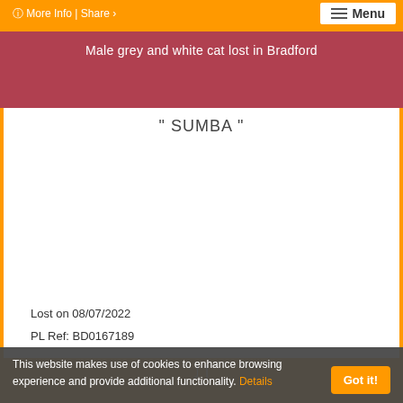More Info | Share
Menu
Male grey and white cat lost in Bradford
" SUMBA "
Lost on 08/07/2022
PL Ref: BD0167189
This website makes use of cookies to enhance browsing experience and provide additional functionality. Details
Got it!